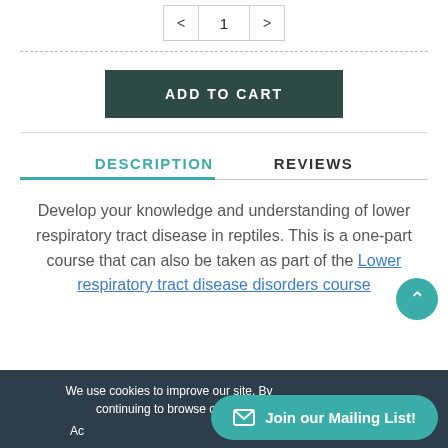[Figure (other): Quantity selector with left arrow, number 1, and right arrow]
[Figure (other): Add to Cart button - dark teal/green rounded rectangle with white uppercase text 'ADD TO CART']
DESCRIPTION   REVIEWS
Develop your knowledge and understanding of lower respiratory tract disease in reptiles. This is a one-part course that can also be taken as part of the Lower respiratory tract disease disorders course
We use cookies to improve our site. By continuing to browse our site...
[Figure (other): Join our Mailing List button - teal rounded pill with envelope icon]